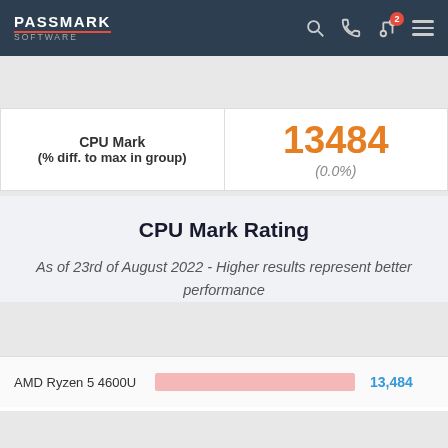PassMark Software - CPU Benchmarks
CPU Benchmarks
| CPU Mark (% diff. to max in group) | Value |
| --- | --- |
| CPU Mark
(% diff. to max in group) | 13484
(0.0%) |
CPU Mark Rating
As of 23rd of August 2022 - Higher results represent better performance
[Figure (bar-chart): CPU Mark Rating]